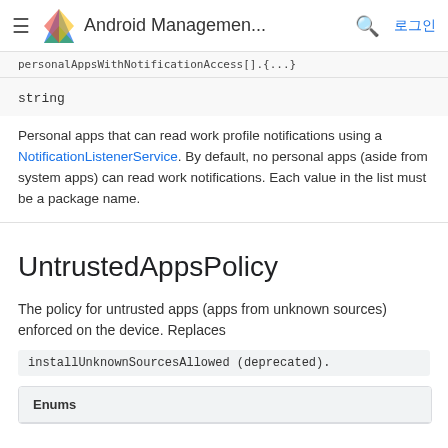Android Management... 로그인
personalAppsWithNotificationAccess[].{...}
string
Personal apps that can read work profile notifications using a NotificationListenerService. By default, no personal apps (aside from system apps) can read work notifications. Each value in the list must be a package name.
UntrustedAppsPolicy
The policy for untrusted apps (apps from unknown sources) enforced on the device. Replaces installUnknownSourcesAllowed (deprecated).
| Enums |
| --- |